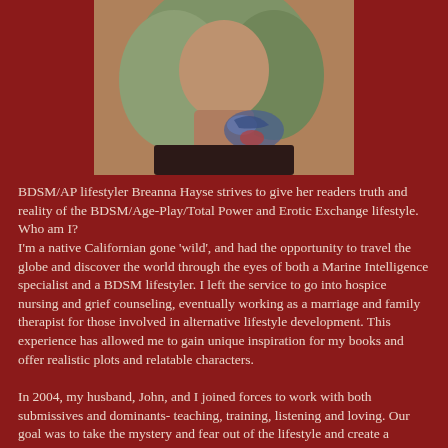[Figure (photo): Author photo of Breanna Hayse showing a person with light/green-tinted hair and a tattoo visible on chest/shoulder]
BDSM/AP lifestyler Breanna Hayse strives to give her readers truth and reality of the BDSM/Age-Play/Total Power and Erotic Exchange lifestyle.
Who am I?
I'm a native Californian gone 'wild', and had the opportunity to travel the globe and discover the world through the eyes of both a Marine Intelligence specialist and a BDSM lifestyler. I left the service to go into hospice nursing and grief counseling, eventually working as a marriage and family therapist for those involved in alternative lifestyle development. This experience has allowed me to gain unique inspiration for my books and offer realistic plots and relatable characters.

In 2004, my husband, John, and I joined forces to work with both submissives and dominants- teaching, training, listening and loving. Our goal was to take the mystery and fear out of the lifestyle and create a sanctuary for open and healthy li...